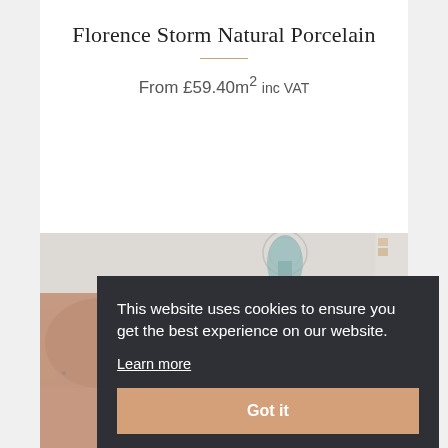Florence Storm Natural Porcelain
From £59.40m² inc VAT
[Figure (photo): Partial view of a room scene with decorative objects, showing a hand and furniture in a muted, blurred background style]
This website uses cookies to ensure you get the best experience on our website.
Learn more
Got it